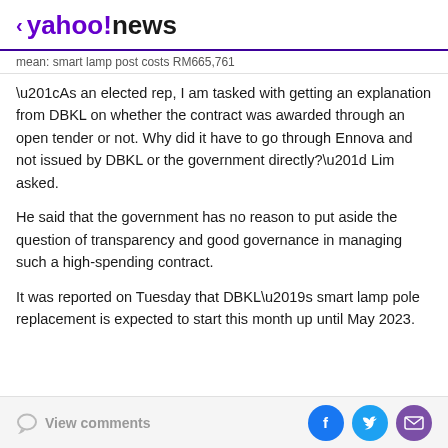< yahoo!news
mean: smart lamp post costs RM665,761
“As an elected rep, I am tasked with getting an explanation from DBKL on whether the contract was awarded through an open tender or not. Why did it have to go through Ennova and not issued by DBKL or the government directly?” Lim asked.
He said that the government has no reason to put aside the question of transparency and good governance in managing such a high-spending contract.
It was reported on Tuesday that DBKL’s smart lamp pole replacement is expected to start this month up until May 2023.
View comments